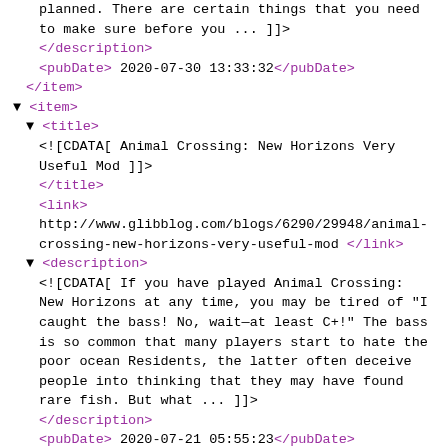XML/RSS feed source code showing blog item entries with titles, links, descriptions, and pubDates for posts about Animal Crossing: New Horizons Very Useful Mod and Intangible Cultural Heritage: Poonchoi
[Figure (screenshot): XML source code viewer showing RSS feed items with purple XML tags and black text content, displaying blog entries]